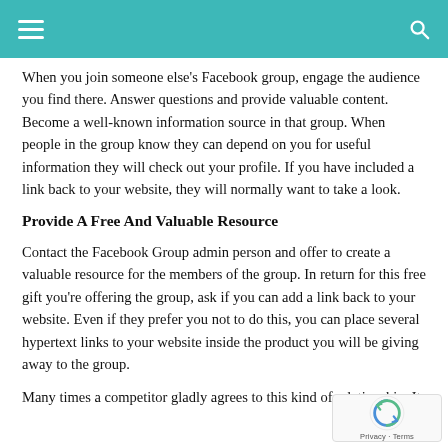When you join someone else's Facebook group, engage the audience you find there. Answer questions and provide valuable content. Become a well-known information source in that group. When people in the group know they can depend on you for useful information they will check out your profile. If you have included a link back to your website, they will normally want to take a look.
Provide A Free And Valuable Resource
Contact the Facebook Group admin person and offer to create a valuable resource for the members of the group. In return for this free gift you're offering the group, ask if you can add a link back to your website. Even if they prefer you not to do this, you can place several hypertext links to your website inside the product you will be giving away to the group.
Many times a competitor gladly agrees to this kind of relationship. It